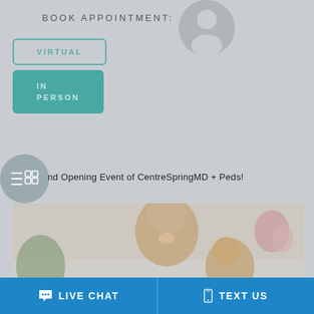BOOK APPOINTMENT:
VIRTUAL
IN PERSON
[Figure (photo): Circular profile photo placeholder of a doctor]
[Figure (infographic): Navigation/menu icon circle with hamburger menu lines and grid icon]
nd Opening Event of CentreSpringMD + Peds!
[Figure (photo): Photo of a mother smiling and looking at a child, in a bright home setting with flowers in background]
LIVE CHAT
TEXT US